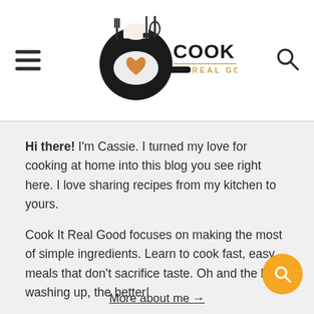Cook It Real Good
Hi there! I'm Cassie. I turned my love for cooking at home into this blog you see right here. I love sharing recipes from my kitchen to yours.

Cook It Real Good focuses on making the most of simple ingredients. Learn to cook fast, easy meals that don't sacrifice taste. Oh and the less washing up, the better!
More about me →